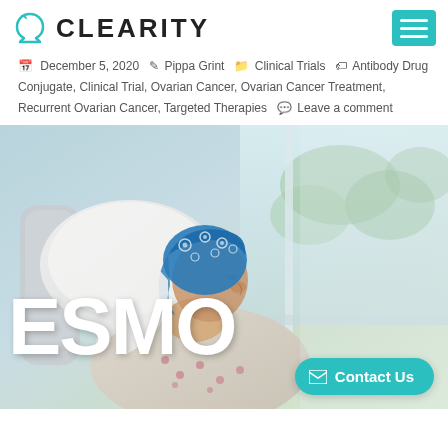CLEARITY
December 5, 2020  Pippa Grint  Clinical Trials  Antibody Drug Conjugate, Clinical Trial, Ovarian Cancer, Ovarian Cancer Treatment, Recurrent Ovarian Cancer, Targeted Therapies  Leave a comment
[Figure (photo): A cancer patient wearing a blue patterned head scarf, sitting in a hospital bed looking out a window. Large white text 'ESMO' overlaid in bottom-left. A teal 'Contact Us' button in the bottom-right.]